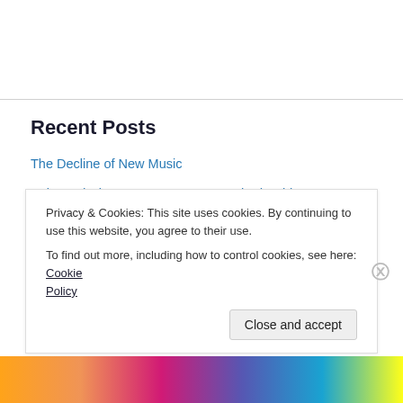Recent Posts
The Decline of New Music
Pako and Circa 94’ Beats – “Unmatched Spirit
NEW SINGLE ALERT -“JOHN CUSACK” feat. Walter Lee “Get It”
Privacy & Cookies: This site uses cookies. By continuing to use this website, you agree to their use.
To find out more, including how to control cookies, see here: Cookie Policy
Close and accept